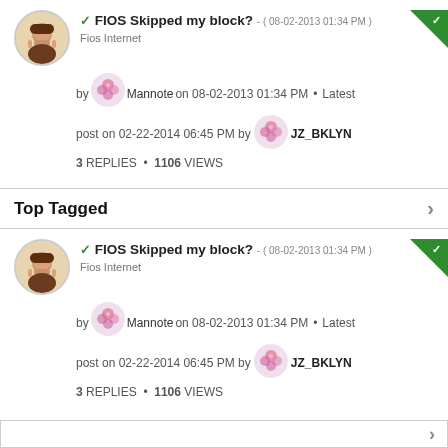✓ FIOS Skipped my block? - (08-02-2013 01:34 PM)
Fios Internet
by Mannote on 08-02-2013 01:34 PM • Latest post on 02-22-2014 06:45 PM by JZ_BKLYN
3 REPLIES • 1106 VIEWS
Top Tagged
✓ FIOS Skipped my block? - (08-02-2013 01:34 PM)
Fios Internet
by Mannote on 08-02-2013 01:34 PM • Latest post on 02-22-2014 06:45 PM by JZ_BKLYN
3 REPLIES • 1106 VIEWS